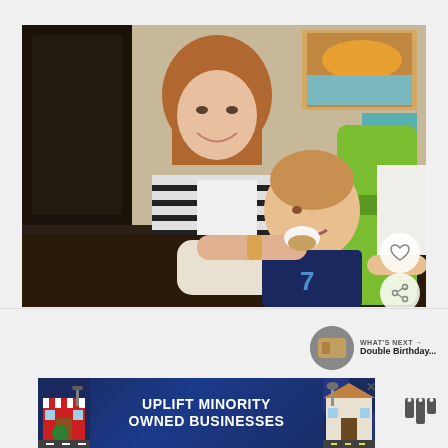[Figure (photo): A smiling woman with shoulder-length auburn hair wearing a black and white striped top feeds a small baby/toddler sitting in a green high chair. The baby is wearing a dark shirt with number 7 and is eating something white (appears to be a cupcake or food item). The scene is indoors with artwork visible on the wall in the background. A heart/like button and share button are overlaid on the bottom-right of the image.]
WHAT'S NEXT → Double Birthday...
[Figure (infographic): Advertisement banner: UPLIFT MINORITY OWNED BUSINESSES. Dark navy blue background with illustrated storefronts on left and right sides. Close button (X) visible. Small logo marks at right.]